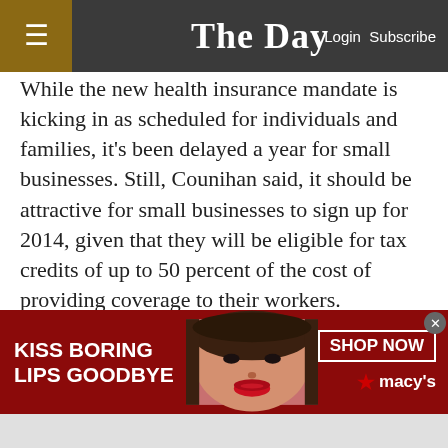The Day — Login Subscribe
While the new health insurance mandate is kicking in as scheduled for individuals and families, it's been delayed a year for small businesses. Still, Counihan said, it should be attractive for small businesses to sign up for 2014, given that they will be eligible for tax credits of up to 50 percent of the cost of providing coverage to their workers.
"This is the biggest expansion of health insurance access in 50 years," he said.
When the system goes live on Tuesday, residents will be able to start purchasing insurance through the exchange on their own — or through the state's HealthCT…
[Figure (advertisement): Macy's lipstick advertisement with woman's face, text 'KISS BORING LIPS GOODBYE', 'SHOP NOW', and Macy's star logo on dark red background]